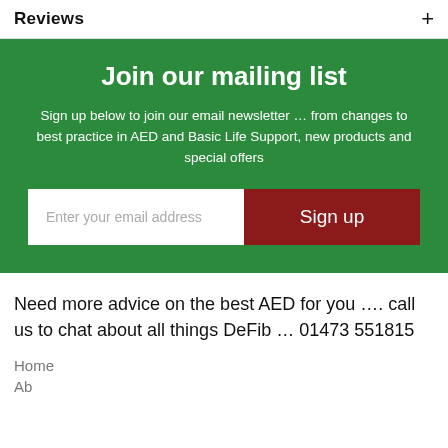Reviews +
Join our mailing list
Sign up below to join our email newsletter … from changes to best practice in AED and Basic Life Support, new products and special offers
Enter your email address   Sign up
Need more advice on the best AED for you …. call us to chat about all things DeFib … 01473 551815
Home
About Us